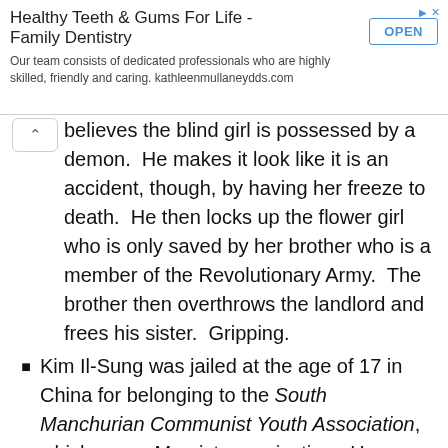[Figure (other): Advertisement banner for Healthy Teeth & Gums For Life - Family Dentistry with OPEN button]
believes the blind girl is possessed by a demon.  He makes it look like it is an accident, though, by having her freeze to death.  He then locks up the flower girl who is only saved by her brother who is a member of the Revolutionary Army.  The brother then overthrows the landlord and frees his sister.  Gripping.
Kim Il-Sung was jailed at the age of 17 in China for belonging to the South Manchurian Communist Youth Association, which was a Marxist organization.  He was released after just a few months.  Three years before this, he founded the Down-With-Imperialism Union.
On the off chance he'd have to flee North Korea,